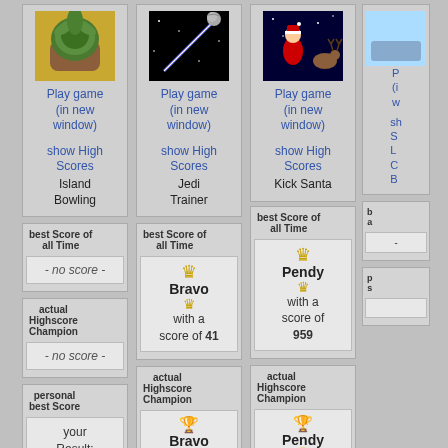[Figure (screenshot): Game listings page showing multiple game columns with play links, high score boards, and champion info for Island Bowling, Jedi Trainer, Kick Santa, and a partial 4th game]
Play game (in new window)
show High Scores
Island Bowling
best Score of all Time
- no score -
actual Highscore Champion
- no score -
personal best Score
your Result: N/A
Play game (in new window)
show High Scores
Jedi Trainer
best Score of all Time
Bravo
with a score of 41
actual Highscore Champion
Bravo
with a score of 41
personal
Play game (in new window)
show High Scores
Kick Santa
best Score of all Time
Pendy
with a score of 959
actual Highscore Champion
Pendy
with a score of 959